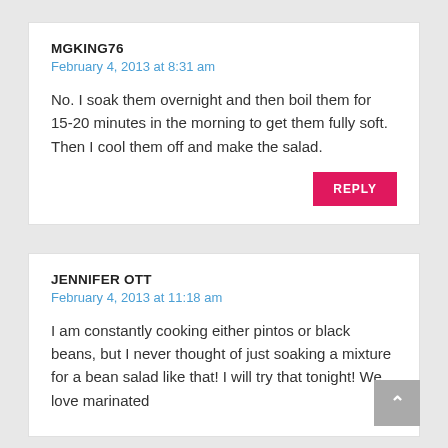MGKING76
February 4, 2013 at 8:31 am
No. I soak them overnight and then boil them for 15-20 minutes in the morning to get them fully soft. Then I cool them off and make the salad.
REPLY
JENNIFER OTT
February 4, 2013 at 11:18 am
I am constantly cooking either pintos or black beans, but I never thought of just soaking a mixture for a bean salad like that! I will try that tonight! We love marinated